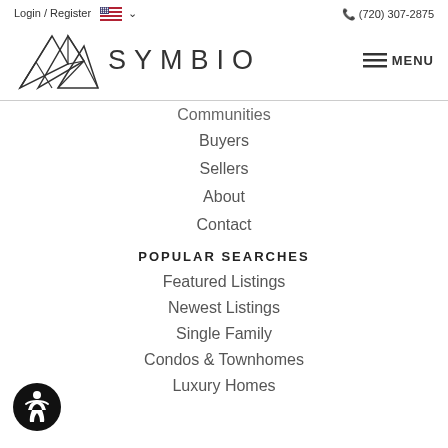Login / Register  🇺🇸 ∨    (720) 307-2875
[Figure (logo): Symbio real estate logo with geometric mountain triangles and text SYMBIO]
Communities
Buyers
Sellers
About
Contact
POPULAR SEARCHES
Featured Listings
Newest Listings
Single Family
Condos & Townhomes
Luxury Homes